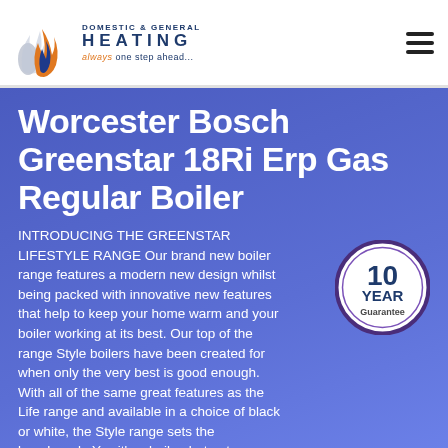[Figure (logo): Domestic & General Heating logo with flame icon and tagline 'always one step ahead...']
Worcester Bosch Greenstar 18Ri Erp Gas Regular Boiler
INTRODUCING THE GREENSTAR LIFESTYLE RANGE Our brand new boiler range features a modern new design whilst being packed with innovative new features that help to keep your home warm and your boiler working at its best. Our top of the range Style boilers have been created for when only the very best is good enough. With all of the same great features as the Life range and available in a choice of black or white, the Style range sets the benchmark. Yes it's a boiler, but not as you know it.
[Figure (illustration): 10 YEAR Guarantee badge - circular badge with purple border, white center, showing '10 YEAR Guarantee' text]